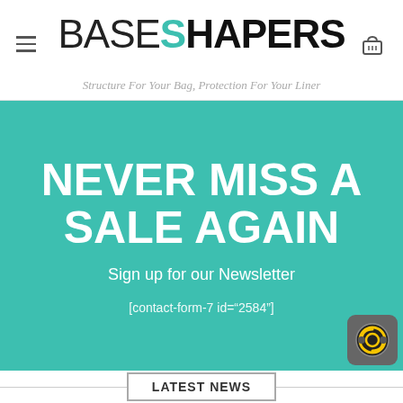BASE SHAPERS — Structure For Your Bag, Protection For Your Liner
NEVER MISS A SALE AGAIN
Sign up for our Newsletter
[contact-form-7 id="2584"]
LATEST NEWS